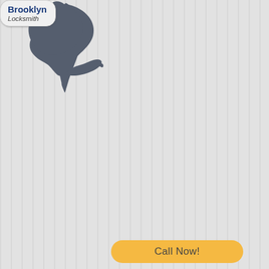[Figure (map): Silhouette map shape of Manhattan borough with label bubble showing Manhattan Locksmith]
[Figure (map): Silhouette map shape of Queens borough with label bubble showing Queens Locksmith]
[Figure (map): Silhouette map shape of Brooklyn borough with label bubble showing Brooklyn Locksmith]
Call Now!